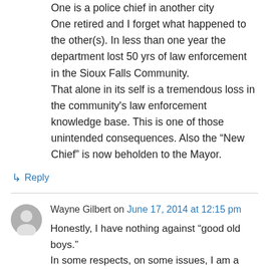One is a police chief in another city One retired and I forget what happened to the other(s). In less than one year the department lost 50 yrs of law enforcement in the Sioux Falls Community. That alone in its self is a tremendous loss in the community's law enforcement knowledge base. This is one of those unintended consequences. Also the “New Chief” is now beholden to the Mayor.
↳ Reply
Wayne Gilbert on June 17, 2014 at 12:15 pm
Honestly, I have nothing against “good old boys.” In some respects, on some issues, I am a “good